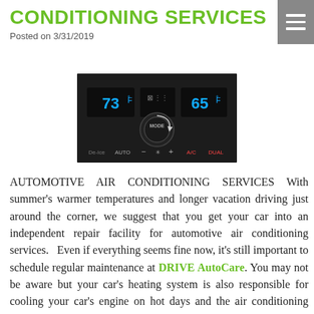CONDITIONING SERVICES
Posted on 3/31/2019
[Figure (photo): Car air conditioning control panel showing 73°F and 65°F temperature displays with MODE dial, AUTO, A/C, and DUAL controls on a dark dashboard]
AUTOMOTIVE AIR CONDITIONING SERVICES With summer's warmer temperatures and longer vacation driving just around the corner, we suggest that you get your car into an independent repair facility for automotive air conditioning services.   Even if everything seems fine now, it's still important to schedule regular maintenance at DRIVE AutoCare. You may not be aware but your car's heating system is also responsible for cooling your car's engine on hot days and the air conditioning system plays a vital role during the colder months as well.  If you ignore these